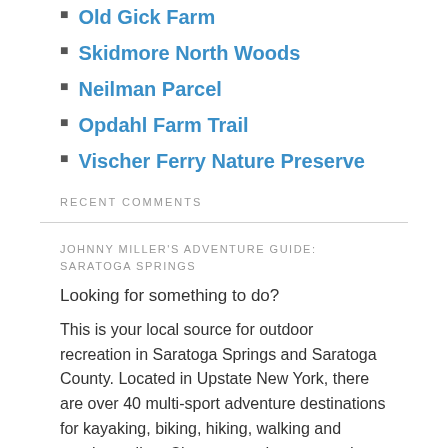Old Gick Farm
Skidmore North Woods
Neilman Parcel
Opdahl Farm Trail
Vischer Ferry Nature Preserve
RECENT COMMENTS
JOHNNY MILLER'S ADVENTURE GUIDE: SARATOGA SPRINGS
Looking for something to do?
This is your local source for outdoor recreation in Saratoga Springs and Saratoga County. Located in Upstate New York, there are over 40 multi-sport adventure destinations for kayaking, biking, hiking, walking and running online. Choose an adventure and go have fun for a couple of hours, it feels great to be outside. So, if you are looking for a perfect recreation spot, you can find it here in Saratoga Springs!